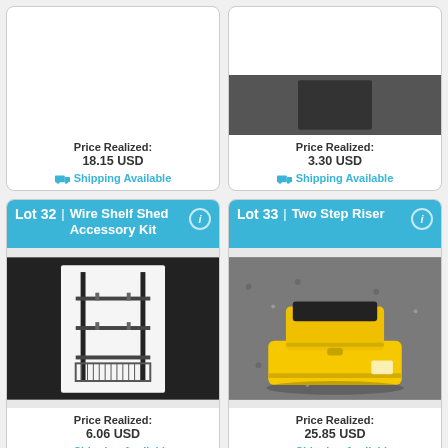Price Realized: 18.15 USD
Shipping Available
Price Realized: 3.30 USD
Shipping Available
Lot 32 | Wire Shelf Shed Accessory Kit
[Figure (photo): Wire shelf shed accessory kit product photo on white background]
Price Realized: 6.06 USD
Shipping Available
Lot 33 | Two Step Riser
[Figure (photo): Yellow two-step riser/stool on gravel ground, with black top panel]
Price Realized: 25.85 USD
Shipping Available